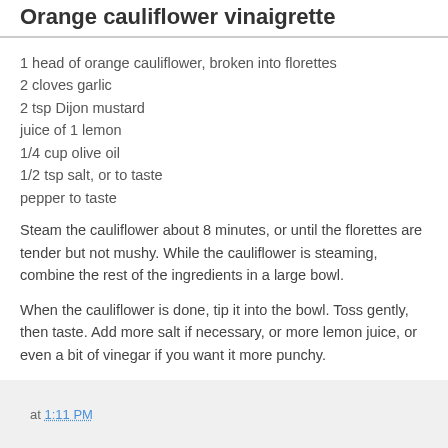Orange cauliflower vinaigrette
1 head of orange cauliflower, broken into florettes
2 cloves garlic
2 tsp Dijon mustard
juice of 1 lemon
1/4 cup olive oil
1/2 tsp salt, or to taste
pepper to taste
Steam the cauliflower about 8 minutes, or until the florettes are tender but not mushy. While the cauliflower is steaming, combine the rest of the ingredients in a large bowl.
When the cauliflower is done, tip it into the bowl. Toss gently, then taste. Add more salt if necessary, or more lemon juice, or even a bit of vinegar if you want it more punchy.
Serve hot, warm, or cold.
at 1:11 PM